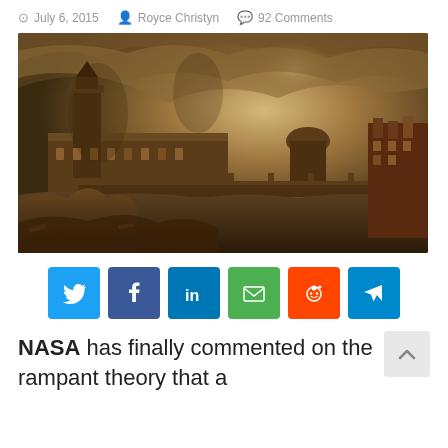July 6, 2015  Royce Christyn  92 Comments
[Figure (illustration): Dystopian fantasy illustration of a ruined London skyline with Big Ben, Parliament, and St Paul's Cathedral under dark stormy skies, with collapsed riverbanks and destruction in the foreground.]
[Figure (infographic): Social sharing buttons: Twitter (blue), Facebook (dark blue), LinkedIn (blue), Email (green), Reddit (orange), Telegram (blue)]
NASA has finally commented on the rampant theory that a